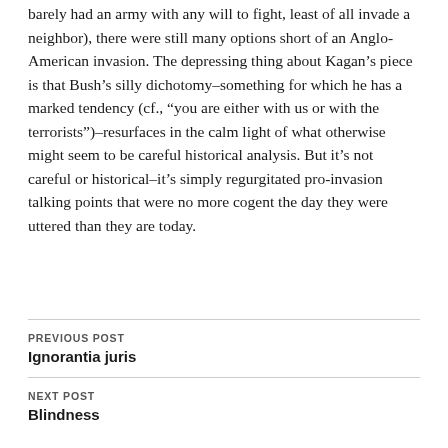barely had an army with any will to fight, least of all invade a neighbor), there were still many options short of an Anglo-American invasion. The depressing thing about Kagan’s piece is that Bush’s silly dichotomy–something for which he has a marked tendency (cf., “you are either with us or with the terrorists”)–resurfaces in the calm light of what otherwise might seem to be careful historical analysis. But it’s not careful or historical–it’s simply regurgitated pro-invasion talking points that were no more cogent the day they were uttered than they are today.
PREVIOUS POST
Ignorantia juris
NEXT POST
Blindness